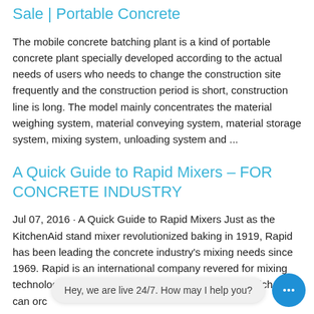Sale | Portable Concrete
The mobile concrete batching plant is a kind of portable concrete plant specially developed according to the actual needs of users who needs to change the construction site frequently and the construction period is short, construction line is long. The model mainly concentrates the material weighing system, material conveying system, material storage system, mixing system, unloading system and ...
A Quick Guide to Rapid Mixers – FOR CONCRETE INDUSTRY
Jul 07, 2016 · A Quick Guide to Rapid Mixers Just as the KitchenAid stand mixer revolutionized baking in 1919, Rapid has been leading the concrete industry's mixing needs since 1969. Rapid is an international company revered for mixing technology know-how and their mixing equipment which you can orc...